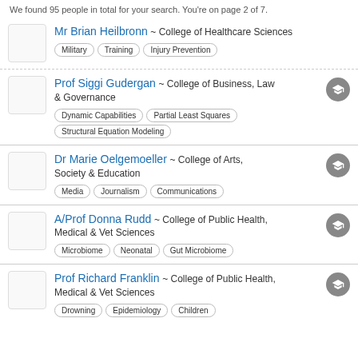We found 95 people in total for your search. You're on page 2 of 7.
Mr Brian Heilbronn ~ College of Healthcare Sciences | Tags: Military, Training, Injury Prevention
Prof Siggi Gudergan ~ College of Business, Law & Governance | Tags: Dynamic Capabilities, Partial Least Squares, Structural Equation Modeling
Dr Marie Oelgemoeller ~ College of Arts, Society & Education | Tags: Media, Journalism, Communications
A/Prof Donna Rudd ~ College of Public Health, Medical & Vet Sciences | Tags: Microbiome, Neonatal, Gut Microbiome
Prof Richard Franklin ~ College of Public Health, Medical & Vet Sciences | Tags: Drowning, Epidemiology, Children